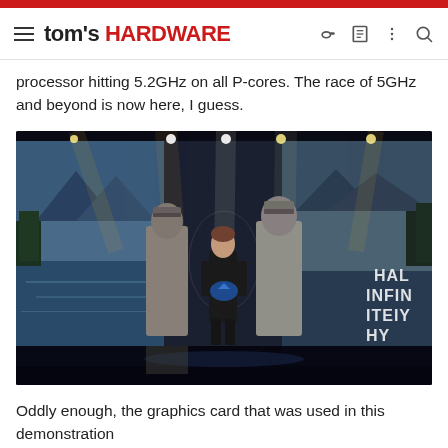tom's HARDWARE
processor hitting 5.2GHz on all P-cores. The race of 5GHz and beyond is now here, I guess.
[Figure (photo): Presenter on stage at a Halo Infinite event, surrounded by large scenic backdrop screens showing mountainous landscapes and Spartan armor figures. Stage lighting with yellow and white spotlights visible.]
Oddly enough, the graphics card that was used in this demonstration